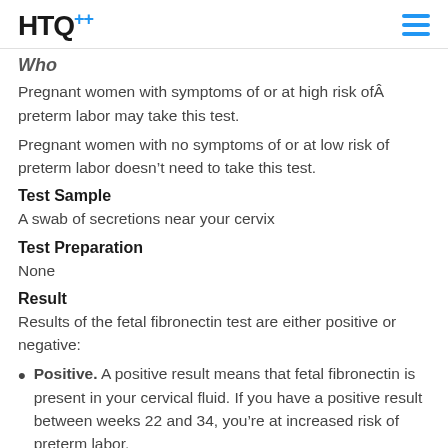HTQ+
Who
Pregnant women with symptoms of or at high risk ofÂ preterm labor may take this test.
Pregnant women with no symptoms of or at low risk of preterm labor doesn’t need to take this test.
Test Sample
A swab of secretions near your cervix
Test Preparation
None
Result
Results of the fetal fibronectin test are either positive or negative:
Positive. A positive result means that fetal fibronectin is present in your cervical fluid. If you have a positive result between weeks 22 and 34, you’re at increased risk of preterm labor.
Note that false-positive result may occur. Doctors will